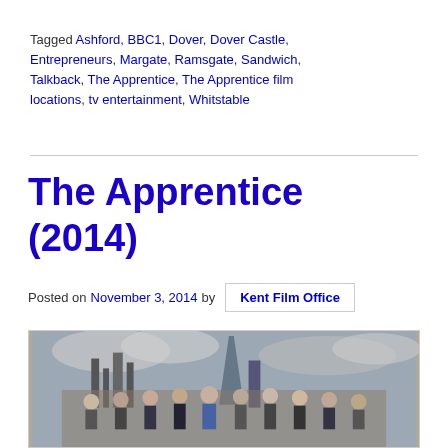Tagged Ashford, BBC1, Dover, Dover Castle, Entrepreneurs, Margate, Ramsgate, Sandwich, Talkback, The Apprentice, The Apprentice film locations, tv entertainment, Whitstable
The Apprentice (2014)
Posted on November 3, 2014 by Kent Film Office
[Figure (photo): Group photo of The Apprentice 2014 contestants standing in front of a London skyline with dramatic cloudy sky]